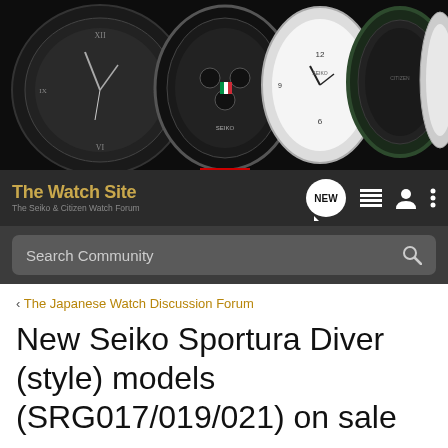[Figure (photo): Banner image showing multiple Seiko watches on a dark background]
The Watch Site — The Seiko & Citizen Watch Forum
Search Community
< The Japanese Watch Discussion Forum
New Seiko Sportura Diver (style) models (SRG017/019/021) on sale now
→ Jump to Latest
+ Follow